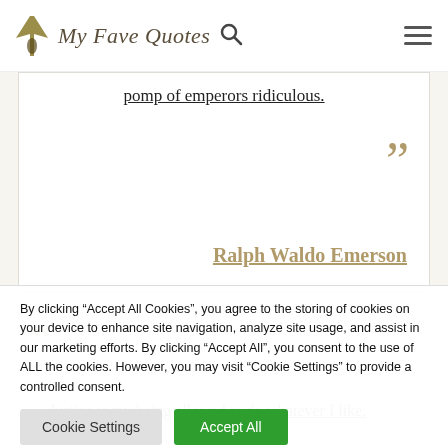My Fave Quotes
pomp of emperors ridiculous.
Ralph Waldo Emerson
Justice is my being allowed to do whatever I like.
By clicking “Accept All Cookies”, you agree to the storing of cookies on your device to enhance site navigation, analyze site usage, and assist in our marketing efforts. By clicking “Accept All”, you consent to the use of ALL the cookies. However, you may visit "Cookie Settings" to provide a controlled consent.